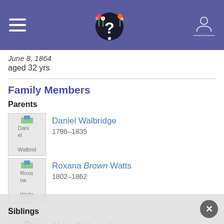Genealogy site header with navigation hamburger menu, logo with question mark, and user profile icon
June 8, 1864
aged 32 yrs
Family Members
Parents
Daniel Walbridge
1796–1835
Roxana Brown Watts
1802–1862
Spouse
Abbie T Hardy Newcomb
1842–1917 (m. 1860)
Siblings